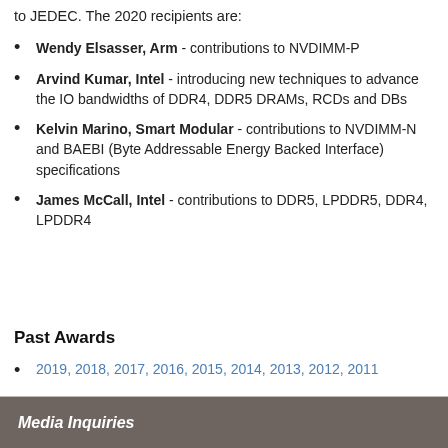to JEDEC. The 2020 recipients are:
Wendy Elsasser, Arm - contributions to NVDIMM-P
Arvind Kumar, Intel - introducing new techniques to advance the IO bandwidths of DDR4, DDR5 DRAMs, RCDs and DBs
Kelvin Marino, Smart Modular - contributions to NVDIMM-N and BAEBI (Byte Addressable Energy Backed Interface) specifications
James McCall, Intel - contributions to DDR5, LPDDR5, DDR4, LPDDR4
Past Awards
2019, 2018, 2017, 2016, 2015, 2014, 2013, 2012, 2011
Media Inquiries